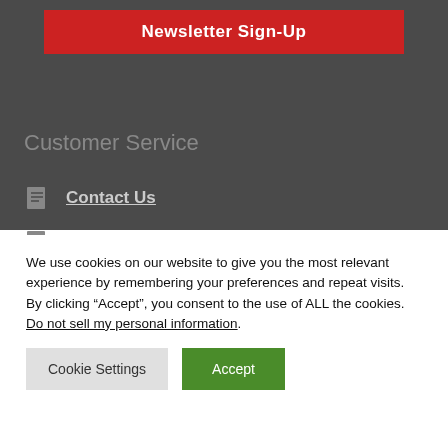Newsletter Sign-Up
Customer Service
Contact Us
Returns
We use cookies on our website to give you the most relevant experience by remembering your preferences and repeat visits. By clicking “Accept”, you consent to the use of ALL the cookies. Do not sell my personal information.
Cookie Settings | Accept